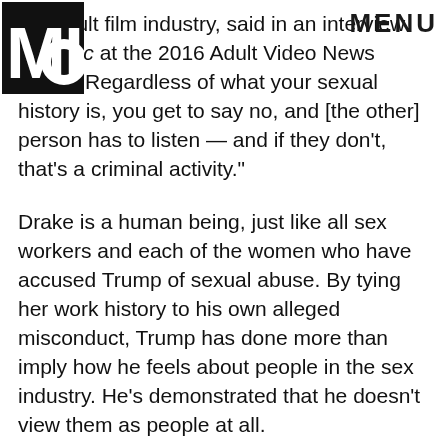MIC | MENU
the adult film industry, said in an interview with Mic at the 2016 Adult Video News Expo. "Regardless of what your sexual history is, you get to say no, and [the other] person has to listen — and if they don't, that's a criminal activity."
Drake is a human being, just like all sex workers and each of the women who have accused Trump of sexual abuse. By tying her work history to his own alleged misconduct, Trump has done more than imply how he feels about people in the sex industry. He's demonstrated that he doesn't view them as people at all.